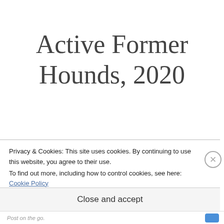Active Former Hounds, 2020
This annual accounting of Duluth East graduates playing post-high school hockey necessarily comes with
Privacy & Cookies: This site uses cookies. By continuing to use this website, you agree to their use.
To find out more, including how to control cookies, see here: Cookie Policy
Close and accept
Post on the go.